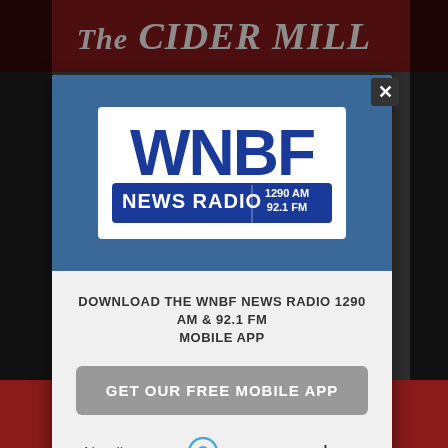[Figure (screenshot): Background webpage showing The Cider Mill website header in dark red/maroon with white italic serif text 'The Cider Mill']
[Figure (logo): WNBF News Radio logo: 'WNBF' in large blue bold letters above a blue rectangle with 'NEWS RADIO' in white and '1290 AM / 92.1 FM' in white smaller text]
DOWNLOAD THE WNBF NEWS RADIO 1290 AM & 92.1 FM MOBILE APP
GET OUR FREE MOBILE APP
Also listen on: amazon alexa
[Figure (logo): The Cider Mill logo in white italic serif font on dark red background banner at bottom of page]